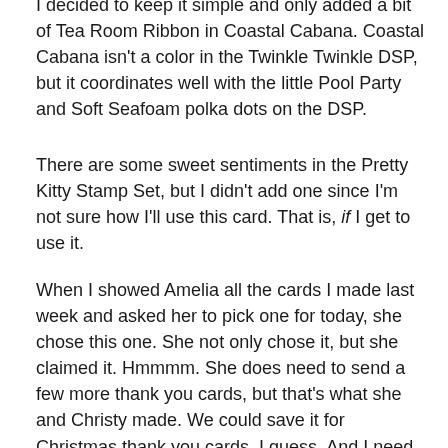I decided to keep it simple and only added a bit of Tea Room Ribbon in Coastal Cabana. Coastal Cabana isn't a color in the Twinkle Twinkle DSP, but it coordinates well with the little Pool Party and Soft Seafoam polka dots on the DSP.
There are some sweet sentiments in the Pretty Kitty Stamp Set, but I didn't add one since I'm not sure how I'll use this card. That is, if I get to use it.
When I showed Amelia all the cards I made last week and asked her to pick one for today, she chose this one. She not only chose it, but she claimed it. Hmmmm. She does need to send a few more thank you cards, but that's what she and Christy made. We could save it for Christmas thank you cards, I guess. And I need to remember to start making two of everything.